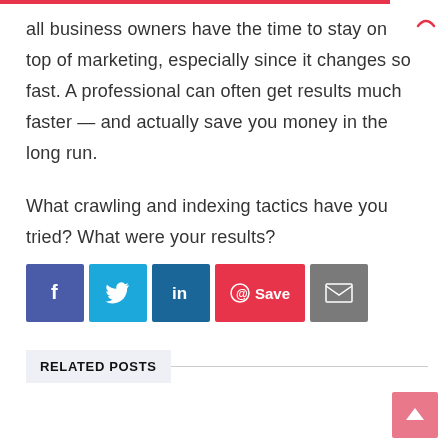all business owners have the time to stay on top of marketing, especially since it changes so fast. A professional can often get results much faster — and actually save you money in the long run.

What crawling and indexing tactics have you tried? What were your results?
[Figure (infographic): Social share buttons: Facebook (dark blue), Twitter (light blue), LinkedIn (dark teal), Pinterest Save (red with Pinterest icon), Email (gray envelope icon)]
RELATED POSTS